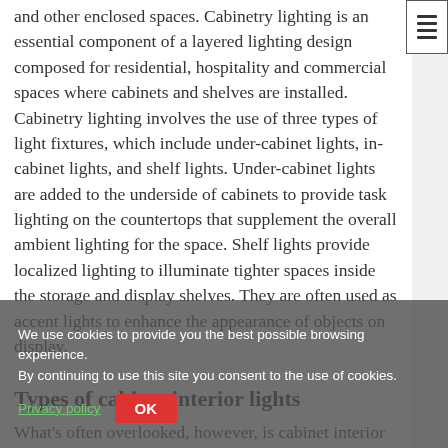and other enclosed spaces. Cabinetry lighting is an essential component of a layered lighting design composed for residential, hospitality and commercial spaces where cabinets and shelves are installed. Cabinetry lighting involves the use of three types of light fixtures, which include under-cabinet lights, in-cabinet lights, and shelf lights. Under-cabinet lights are added to the underside of cabinets to provide task lighting on the countertops that supplement the overall ambient lighting for the space. Shelf lights provide localized lighting to illuminate tighter spaces inside the storage and display shelves. They are often used as accent lights to enhance the appearance of objects on display.
Types of cabinet interior lights
What's often overlooked, however, is cabinet interior lighting. Storage furniture with doors and/or drawers
We use cookies to provide you the best possible browsing experience. By continuing to use this site you consent to the use of cookies.